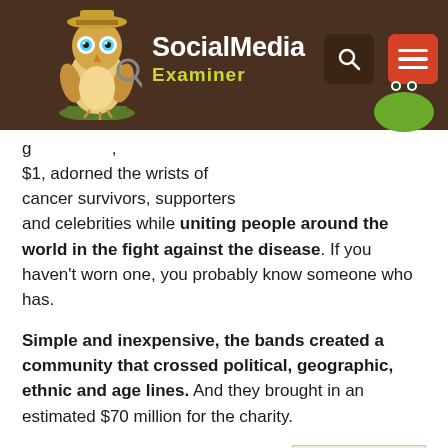Social Media Examiner
$1, adorned the wrists of cancer survivors, supporters and celebrities while uniting people around the world in the fight against the disease. If you haven't worn one, you probably know someone who has.
Simple and inexpensive, the bands created a community that crossed political, geographic, ethnic and age lines. And they brought in an estimated $70 million for the charity.
The bracelet craze has slowed but LIVESTRONG is still going
[Figure (photo): Yellow Livestrong bracelet partially visible in bottom right corner]